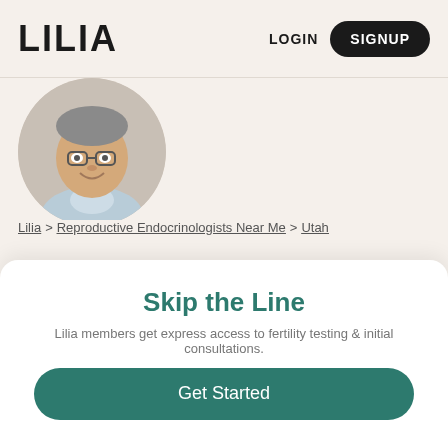LILIA  LOGIN  SIGNUP
[Figure (photo): Circular portrait photo of Dr. Andrew Moore, a middle-aged man with glasses and a blue checkered shirt, smiling, cropped at top of frame]
Lilia > Reproductive Endocrinologists Near Me > Utah
Dr. Andrew Moore
50 N Medical Dr Salt Lake City Utah 84132-0001
Skip the Line
Lilia members get express access to fertility testing & initial consultations.
Get Started